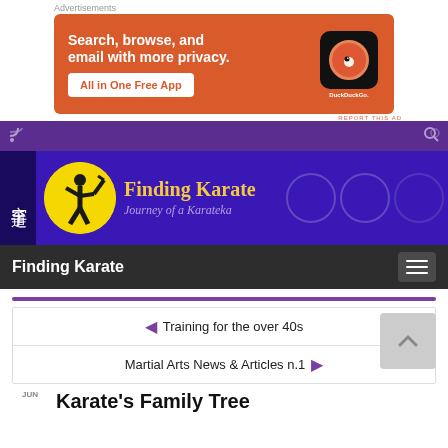Advertisements
[Figure (illustration): DuckDuckGo advertisement banner: orange/red background with text 'Search, browse, and email with more privacy. All in One Free App' and a phone showing the DuckDuckGo app]
REPORT THIS AD
[Figure (screenshot): Purple navigation bar with RSS icon on left and search/zoom icon on right]
[Figure (logo): Finding Karate website banner: blue/purple background with kanji characters on left, karate silhouette logo, site title 'Finding Karate' and subtitle 'Journey of a Karateka']
Finding Karate
Training for the over 40s
Martial Arts News & Articles n.1
Karate's Family Tree